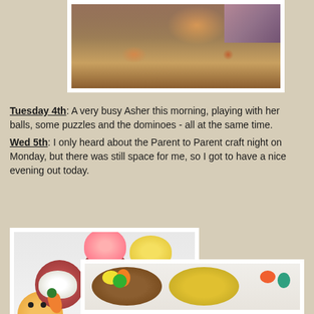[Figure (photo): Child playing with balls, puzzles and dominoes on a table, viewed from above]
Tuesday 4th: A very busy Asher this morning, playing with her balls, some puzzles and the dominoes - all at the same time.
Wed 5th: I only heard about the Parent to Parent craft night on Monday, but there was still space for me, so I got to have a nice evening out today.
[Figure (photo): Easter-themed decorated cupcakes on a white plate, featuring owl, bunny, chick, and carrot designs]
[Figure (photo): Two decorated Easter cakes with fondant decorations in yellow, orange, green and teal colors]